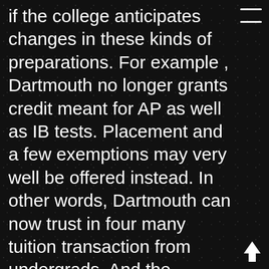if the college anticipates changes in these kinds of preparations. For example , Dartmouth no longer grants credit meant for AP as well as IB tests. Placement and a few exemptions may very well be offered instead. In other words, Dartmouth can now trust in four many tuition transaction from undergrads. And the concerns can be more complex affecting credit intended for internships, co-ops or exploration. If the goal is to move on in three years and also less, really worth investigating if there usually are plans in mind that might have an impact on